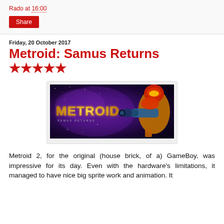Rado at 16:00
Share
Friday, 20 October 2017
Metroid: Samus Returns ★★★★★
[Figure (photo): Metroid: Samus Returns game cover art showing the game title logo in gold text against a purple/dark space background with Samus character in armor on the right side holding a gun]
Metroid 2, for the original (house brick, of a) GameBoy, was impressive for its day. Even with the hardware's limitations, it managed to have nice big sprite work and animation. It